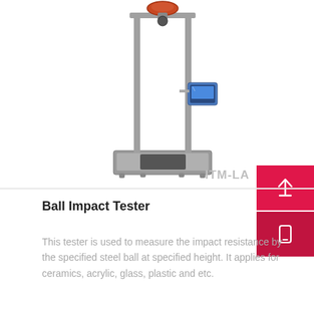[Figure (photo): Ball Impact Tester machine — a tall metal stand with two vertical poles, a ball-drop mechanism at the top, a small digital display panel on the right pole, and a square metal tray/base at the bottom for catching the ball.]
ITM-LA
Ball Impact Tester
This tester is used to measure the impact resistance by the specified steel ball at specified height. It applies for ceramics, acrylic, glass, plastic and etc.